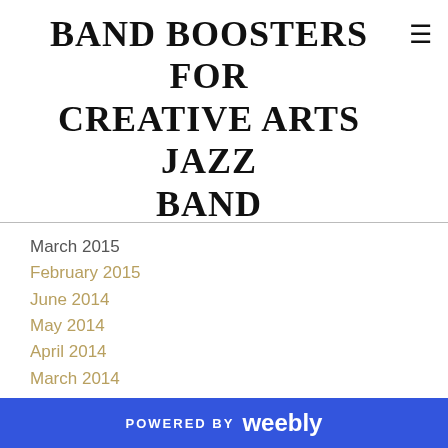BAND BOOSTERS FOR CREATIVE ARTS JAZZ BAND
March 2015
February 2015
June 2014
May 2014
April 2014
March 2014
February 2014
May 2013
April 2013
February 2013
January 2013
May 2012
POWERED BY weebly